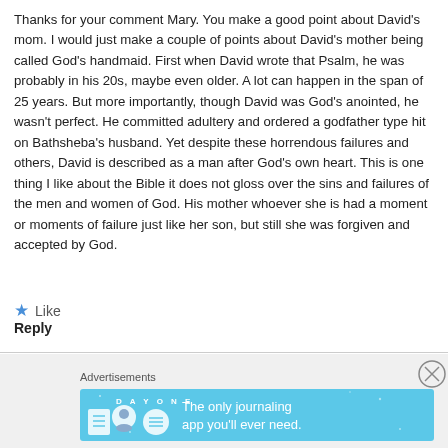Thanks for your comment Mary. You make a good point about David's mom. I would just make a couple of points about David's mother being called God's handmaid. First when David wrote that Psalm, he was probably in his 20s, maybe even older. A lot can happen in the span of 25 years. But more importantly, though David was God's anointed, he wasn't perfect. He committed adultery and ordered a godfather type hit on Bathsheba's husband. Yet despite these horrendous failures and others, David is described as a man after God's own heart. This is one thing I like about the Bible it does not gloss over the sins and failures of the men and women of God. His mother whoever she is had a moment or moments of failure just like her son, but still she was forgiven and accepted by God.
★ Like
Reply
[Figure (infographic): Advertisement banner for Day One journaling app with close button. Shows 'Advertisements' label, then a light blue banner with Day One logo icons and text 'The only journaling app you'll ever need.']